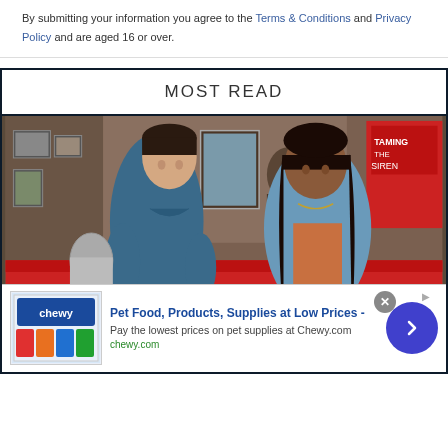By submitting your information you agree to the Terms & Conditions and Privacy Policy and are aged 16 or over.
MOST READ
[Figure (photo): Two young people sitting on a red couch in what appears to be a classroom or school setting, looking at each other. Male on left in blue shirt, female on right in denim jacket.]
1  Never Have I Ever Season 3 Ending Explained: How It Sets Up Season 4
Pet Food, Products, Supplies at Low Prices - Pay the lowest prices on pet supplies at Chewy.com chewy.com